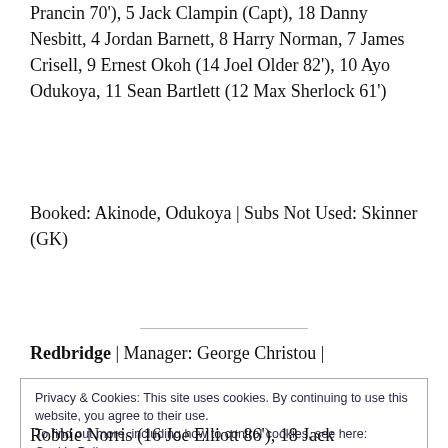Prancin 70'), 5 Jack Clampin (Capt), 18 Danny Nesbitt, 4 Jordan Barnett, 8 Harry Norman, 7 James Crisell, 9 Ernest Okoh (14 Joel Older 82'), 10 Ayo Odukoya, 11 Sean Bartlett (12 Max Sherlock 61')
Booked: Akinode, Odukoya | Subs Not Used: Skinner (GK)
Redbridge  | Manager: George Christou  |
Privacy & Cookies: This site uses cookies. By continuing to use this website, you agree to their use.
To find out more, including how to control cookies, see here:
Cookie Policy
Close and accept
Robbie Norris (16 Joe Elliott 86'), 18 Jack